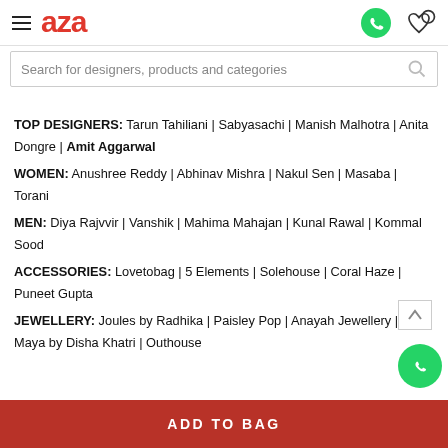aza
Search for designers, products and categories
TOP DESIGNERS: Tarun Tahiliani | Sabyasachi | Manish Malhotra | Anita Dongre | Amit Aggarwal
WOMEN: Anushree Reddy | Abhinav Mishra | Nakul Sen | Masaba | Torani
MEN: Diya Rajvvir | Vanshik | Mahima Mahajan | Kunal Rawal | Kommal Sood
ACCESSORIES: Lovetobag | 5 Elements | Solehouse | Coral Haze | Puneet Gupta
JEWELLERY: Joules by Radhika | Paisley Pop | Anayah Jewellery | Moh-Maya by Disha Khatri | Outhouse
ADD TO BAG